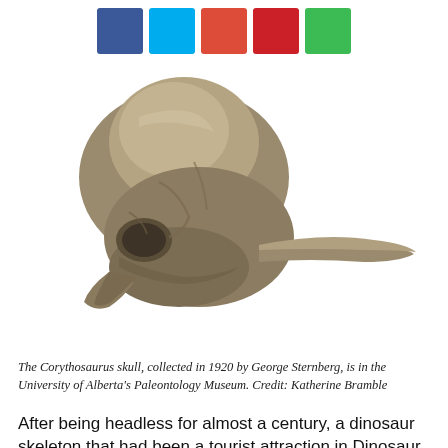[Figure (other): Five social media share buttons in blue (Facebook), cyan (Twitter), orange-red (Google+), red (Pinterest), and green (other) arranged horizontally near the top of the page.]
[Figure (photo): Photograph of a Corythosaurus skull fossil, a tan/brown dinosaur skull with a distinctive crest, collected in 1920 by George Sternberg, now in the University of Alberta's Paleontology Museum. Credit: Katherine Bramble]
The Corythosaurus skull, collected in 1920 by George Sternberg, is in the University of Alberta's Paleontology Museum. Credit: Katherine Bramble
After being headless for almost a century, a dinosaur skeleton that had been a tourist attraction in Dinosaur Provincial